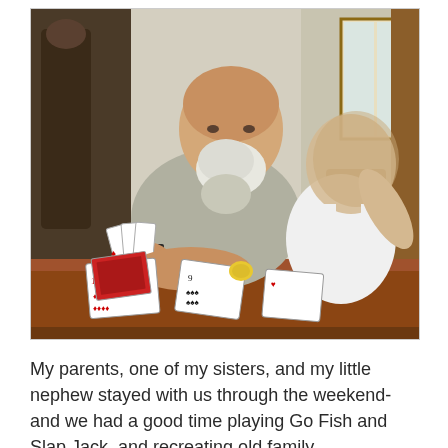[Figure (photo): An older man with a white beard and bald head sits at a wooden table holding playing cards. A young child in a white tank top sits beside him, leaning back. Playing cards and poker chips are spread on the table. The setting appears to be a home dining room.]
My parents, one of my sisters, and my little nephew stayed with us through the weekend- and we had a good time playing Go Fish and Slap Jack, and recreating old family